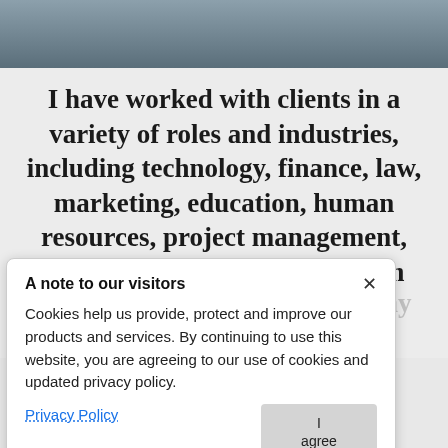[Figure (photo): Partial photo of a person, cropped at top of page, showing clothing and hands]
I have worked with clients in a variety of roles and industries, including technology, finance, law, marketing, education, human resources, project management, product management, program management, learning & development, aerospace,
communications as well as many
A note to our visitors
Cookies help us provide, protect and improve our products and services. By continuing to use this website, you are agreeing to our use of cookies and updated privacy policy.
I agree
Privacy Policy
early in their career, international students, and soon to be graduates.